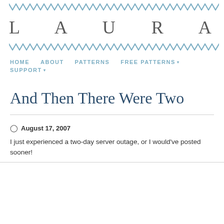LAURA CHAU — blog header with chevron decorations and navigation: HOME, ABOUT, PATTERNS, FREE PATTERNS, SUPPORT
And Then There Were Two
August 17, 2007
I just experienced a two-day server outage, or I would've posted sooner!